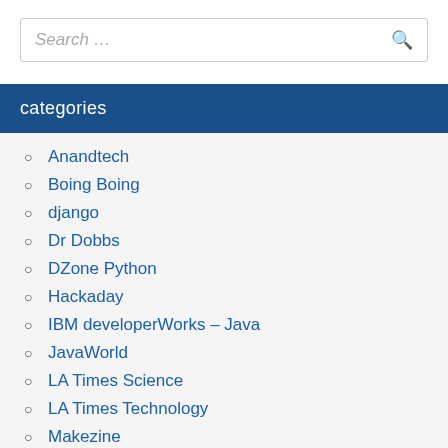Search …
categories
Anandtech
Boing Boing
django
Dr Dobbs
DZone Python
Hackaday
IBM developerWorks – Java
JavaWorld
LA Times Science
LA Times Technology
Makezine
metarobert
python